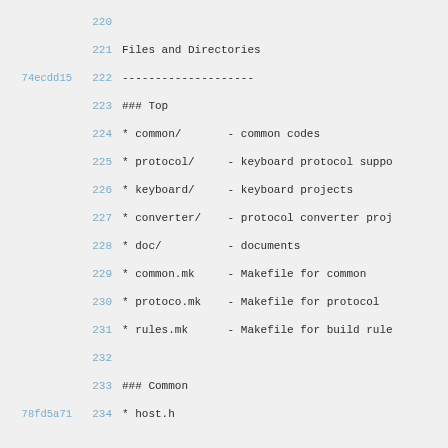220
221  Files and Directories
74ecdd15 222  --------------------
223  ### Top
224  * common/       - common codes
225  * protocol/     - keyboard protocol suppo
226  * keyboard/     - keyboard projects
227  * converter/    - protocol converter proj
228  * doc/          - documents
229  * common.mk     - Makefile for common
230  * protoco.mk    - Makefile for protocol
231  * rules.mk      - Makefile for build rule
232
233  ### Common
78fd5a71 234  * host.h